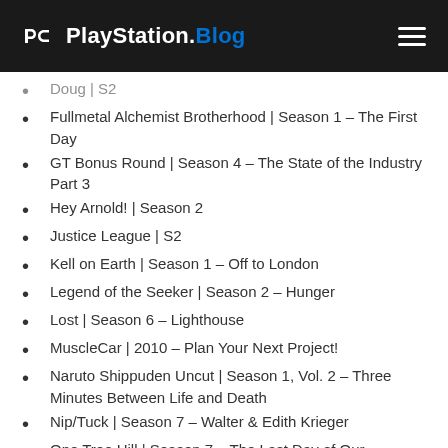PlayStation.Blog
Doug | S2
Fullmetal Alchemist Brotherhood | Season 1 – The First Day
GT Bonus Round | Season 4 – The State of the Industry Part 3
Hey Arnold! | Season 2
Justice League | S2
Kell on Earth | Season 1 – Off to London
Legend of the Seeker | Season 2 – Hunger
Lost | Season 6 – Lighthouse
MuscleCar | 2010 – Plan Your Next Project!
Naruto Shippuden Uncut | Season 1, Vol. 2 – Three Minutes Between Life and Death
Nip/Tuck | Season 7 – Walter & Edith Krieger
One Tree Hill | Season 7 – The Last Day of Our Aquaintance
Psych | Season 4 – Think Tank
Rocko's Modern Life | Best of, Vol. 2